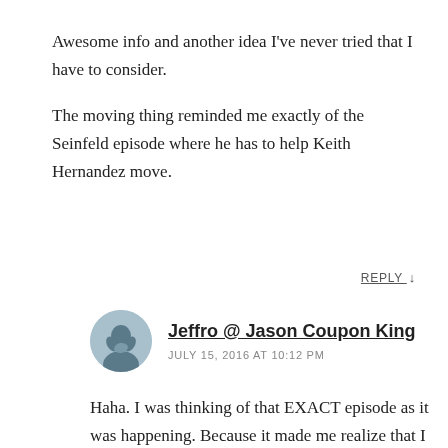Awesome info and another idea I’ve never tried that I have to consider.
The moving thing reminded me exactly of the Seinfeld episode where he has to help Keith Hernandez move.
REPLY ↓
Jeffro @ Jason Coupon King
JULY 15, 2016 AT 10:12 PM
Haha. I was thinking of that EXACT episode as it was happening. Because it made me realize that I would only ever do this again for a very close family member or friend. Never again will